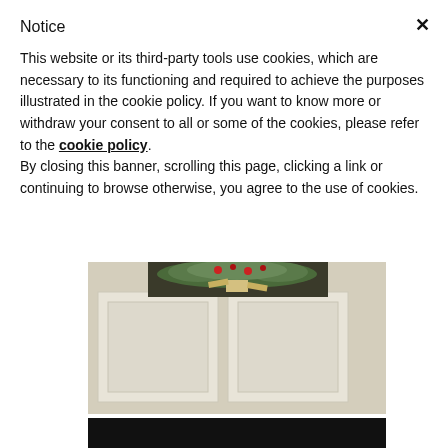Notice
This website or its third-party tools use cookies, which are necessary to its functioning and required to achieve the purposes illustrated in the cookie policy. If you want to know more or withdraw your consent to all or some of the cookies, please refer to the cookie policy.
By closing this banner, scrolling this page, clicking a link or continuing to browse otherwise, you agree to the use of cookies.
[Figure (photo): A white door or panel with a Christmas wreath decoration at the top, photographed at close range showing geometric panel details.]
[Figure (photo): Bottom portion of another image, showing a dark/black area at the top of the frame.]